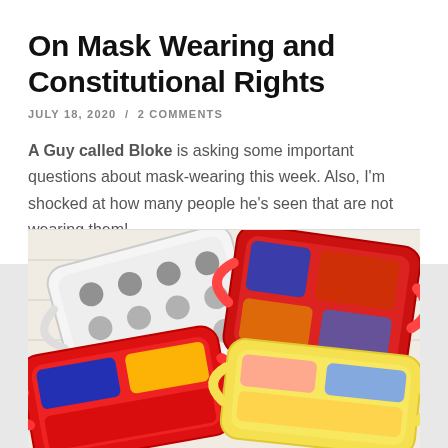On Mask Wearing and Constitutional Rights
JULY 18, 2020  /  2 COMMENTS
A Guy called Bloke is asking some important questions about mask-wearing this week. Also, I'm shocked at how many people he's seen that are not wearing them!
[Figure (photo): Several decorative cloth face masks laid on a white wooden surface. Masks feature Star Wars Stormtrooper, Marvel Avengers (Spider-Man, Captain America, Iron Man), and Disney Princess (Belle, Cinderella) patterns.]